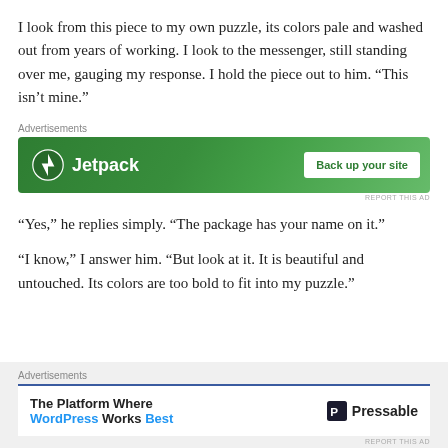I look from this piece to my own puzzle, its colors pale and washed out from years of working. I look to the messenger, still standing over me, gauging my response. I hold the piece out to him. “This isn’t mine.”
[Figure (screenshot): Jetpack advertisement banner with green background, Jetpack logo on left and 'Back up your site' white button on right]
“Yes,” he replies simply. “The package has your name on it.”
“I know,” I answer him. “But look at it. It is beautiful and untouched. Its colors are too bold to fit into my puzzle.”
[Figure (screenshot): Pressable advertisement banner showing 'The Platform Where WordPress Works Best' with Pressable logo on right]